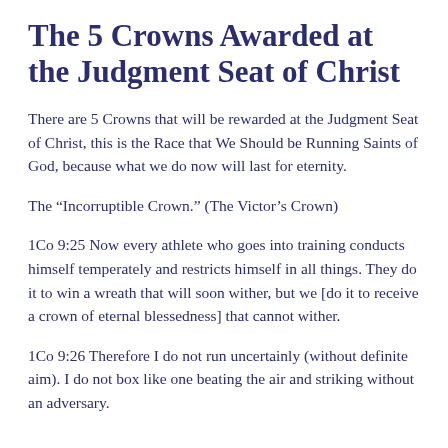The 5 Crowns Awarded at the Judgment Seat of Christ
There are 5 Crowns that will be rewarded at the Judgment Seat of Christ, this is the Race that We Should be Running Saints of God, because what we do now will last for eternity.
The “Incorruptible Crown.” (The Victor’s Crown)
1Co 9:25 Now every athlete who goes into training conducts himself temperately and restricts himself in all things. They do it to win a wreath that will soon wither, but we [do it to receive a crown of eternal blessedness] that cannot wither.
1Co 9:26 Therefore I do not run uncertainly (without definite aim). I do not box like one beating the air and striking without an adversary.